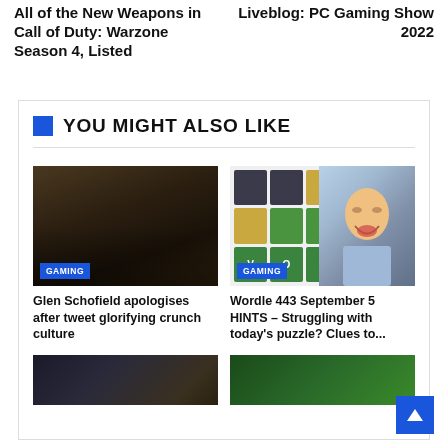All of the New Weapons in Call of Duty: Warzone Season 4, Listed
Liveblog: PC Gaming Show 2022
YOU MIGHT ALSO LIKE
[Figure (photo): Dark moody screenshot of a gaming scene with silhouetted figures and smoke, GAMING badge overlay]
Glen Schofield apologises after tweet glorifying crunch culture
[Figure (photo): Wordle game tile grid showing colored squares (dark, yellow, green) with letters V O R D L E, alongside a laughing Asian man, GAMING badge overlay]
Wordle 443 September 5 HINTS – Struggling with today's puzzle? Clues to...
[Figure (photo): Partial dark game screenshot at bottom left]
[Figure (photo): Partial green game screenshot at bottom right]